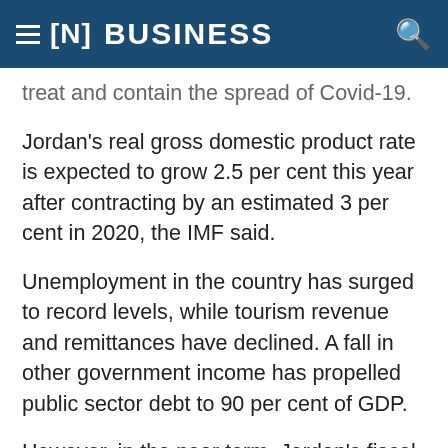[N] BUSINESS
treat and contain the spread of Covid-19.
Jordan's real gross domestic product rate is expected to grow 2.5 per cent this year after contracting by an estimated 3 per cent in 2020, the IMF said.
Unemployment in the country has surged to record levels, while tourism revenue and remittances have declined. A fall in other government income has propelled public sector debt to 90 per cent of GDP.
However, in the near term, Jordan's fiscal policy continues to focus on supporting the economy, backed by the IMF programme.